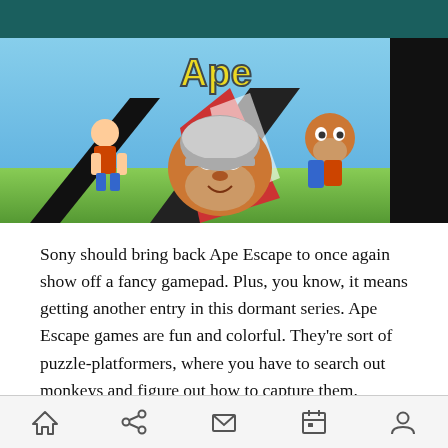[Figure (photo): Ape Escape PlayStation game box art showing cartoon monkeys and a boy character, with PlayStation logo on the right side]
Sony should bring back Ape Escape to once again show off a fancy gamepad. Plus, you know, it means getting another entry in this dormant series. Ape Escape games are fun and colorful. They’re sort of puzzle-platformers, where you have to search out monkeys and figure out how to capture them.
Sony has a well-earned reputation for making
Home | Share | Mail | Calendar | Profile